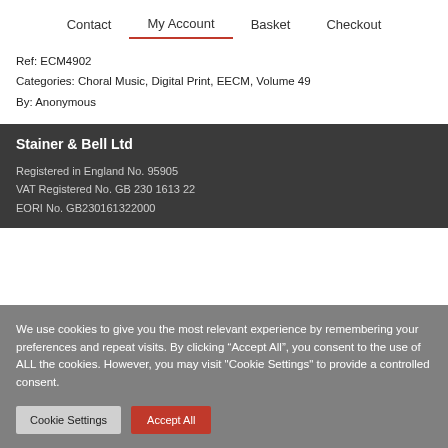Contact | My Account | Basket | Checkout
Ref: ECM4902
Categories: Choral Music, Digital Print, EECM, Volume 49
By: Anonymous
Stainer & Bell Ltd
Registered in England No. 95905
VAT Registered No. GB 230 1613 22
EORI No. GB230161322000
We use cookies to give you the most relevant experience by remembering your preferences and repeat visits. By clicking “Accept All”, you consent to the use of ALL the cookies. However, you may visit "Cookie Settings" to provide a controlled consent.
Cookie Settings
Accept All